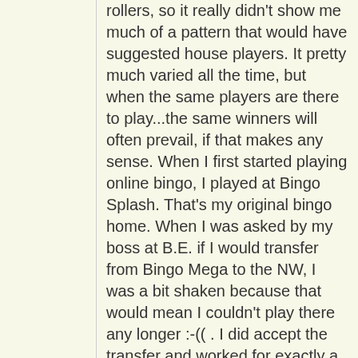rollers, so it really didn't show me much of a pattern that would have suggested house players. It pretty much varied all the time, but when the same players are there to play...the same winners will often prevail, if that makes any sense. When I first started playing online bingo, I played at Bingo Splash. That's my original bingo home. When I was asked by my boss at B.E. if I would transfer from Bingo Mega to the NW, I was a bit shaken because that would mean I couldn't play there any longer :-((  . I did accept the transfer and worked for exactly a year at the NW. I loved it!! I grew so fond of my roomies, and I miss them all very much. Over the course of the year that I worked there, I made many friends, one of whom is the woman that was head CM at the time. She is SUCH an awesome lady!! I'm volunteering for